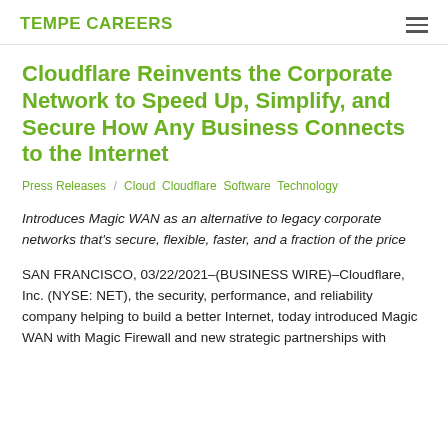TEMPE CAREERS
Cloudflare Reinvents the Corporate Network to Speed Up, Simplify, and Secure How Any Business Connects to the Internet
Press Releases / Cloud Cloudflare Software Technology
Introduces Magic WAN as an alternative to legacy corporate networks that's secure, flexible, faster, and a fraction of the price
SAN FRANCISCO, 03/22/2021–(BUSINESS WIRE)–Cloudflare, Inc. (NYSE: NET), the security, performance, and reliability company helping to build a better Internet, today introduced Magic WAN with Magic Firewall and new strategic partnerships with